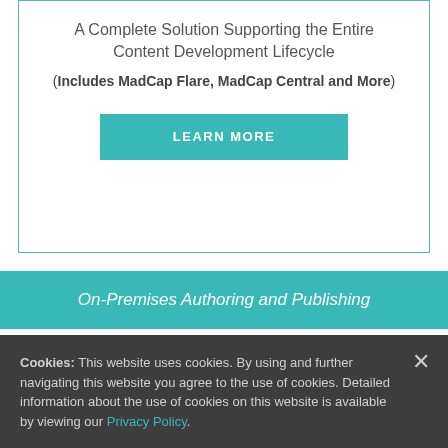A Complete Solution Supporting the Entire Content Development Lifecycle
(Includes MadCap Flare, MadCap Central and More)
LEARN MORE
On-Premises Authoring and Publishing
Cookies: This website uses cookies. By using and further navigating this website you agree to the use of cookies. Detailed information about the use of cookies on this website is available by viewing our Privacy Policy.